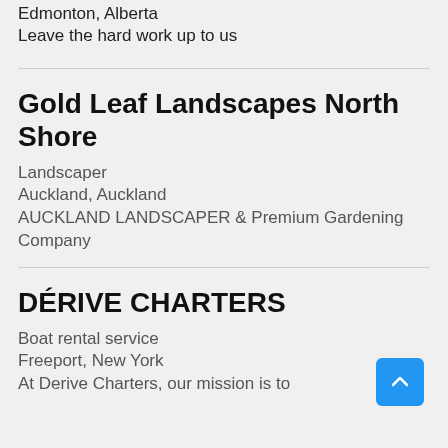Edmonton, Alberta
Leave the hard work up to us
Gold Leaf Landscapes North Shore
Landscaper
Auckland, Auckland
AUCKLAND LANDSCAPER & Premium Gardening Company
DÉRIVE CHARTERS
Boat rental service
Freeport, New York
At Derive Charters, our mission is to